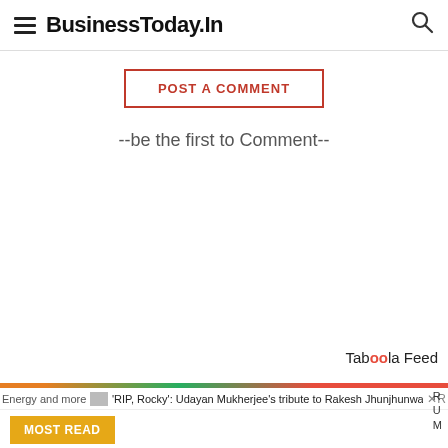BusinessToday.In
POST A COMMENT
--be the first to Comment--
Taboola Feed
Energy and more  'RIP, Rocky': Udayan Mukherjee's tribute to Rakesh Jhunjhunwala
MOST READ